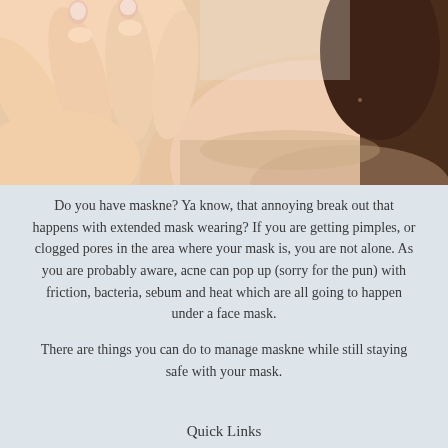[Figure (photo): Close-up photo of a person touching their chin/jaw area with fingers, showing skin and neck, with dark hair visible in background.]
Do you have maskne? Ya know, that annoying break out that happens with extended mask wearing? If you are getting pimples, or clogged pores in the area where your mask is, you are not alone. As you are probably aware, acne can pop up (sorry for the pun) with friction, bacteria, sebum and heat which are all going to happen under a face mask.
There are things you can do to manage maskne while still staying safe with your mask.
Quick Links